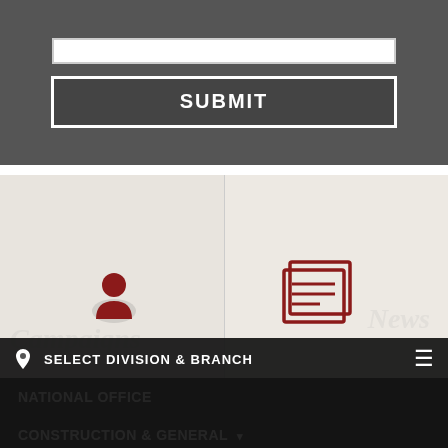[Figure (screenshot): Input bar and SUBMIT button on dark gray background]
[Figure (screenshot): Two map panels side by side: left with a red person/location pin icon and 'Campaigns' watermark text, right with a dark red newspaper/document icon and 'News' watermark text]
SELECT DIVISION & BRANCH
NATIONAL OFFICE
CONSTRUCTION & GENERAL ▾
MINING & ENERGY ▾
MANUFACTURING
MARITIME